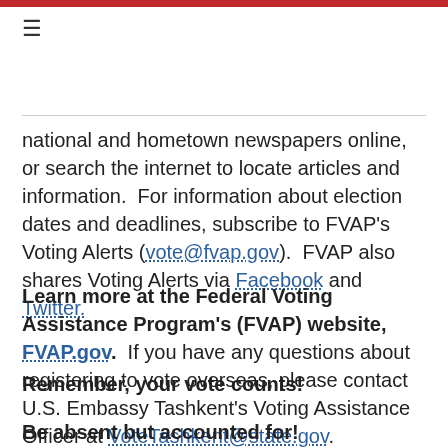≡
national and hometown newspapers online, or search the internet to locate articles and information. For information about election dates and deadlines, subscribe to FVAP's Voting Alerts (vote@fvap.gov). FVAP also shares Voting Alerts via Facebook and Twitter.
Learn more at the Federal Voting Assistance Program's (FVAP) website, FVAP.gov. If you have any questions about registering to vote overseas, please contact U.S. Embassy Tashkent's Voting Assistance Officer at VoteTashkent@state.gov.
Remember, your vote counts!
Be absent but accounted for!